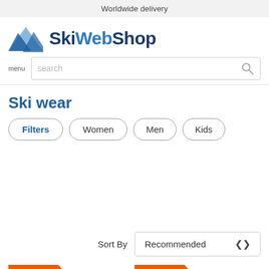Worldwide delivery
[Figure (logo): SkiWebShop logo with mountain icon]
menu
search
Ski wear
Filters  Women  Men  Kids
Sort By  Recommended
SALE -35%
SALE -20%